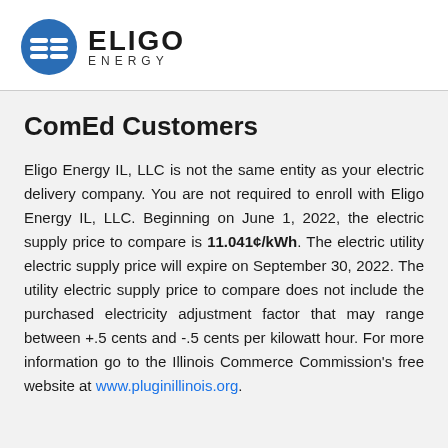[Figure (logo): Eligo Energy logo with blue circular icon and text ELIGO ENERGY]
ComEd Customers
Eligo Energy IL, LLC is not the same entity as your electric delivery company. You are not required to enroll with Eligo Energy IL, LLC. Beginning on June 1, 2022, the electric supply price to compare is 11.041¢/kWh. The electric utility electric supply price will expire on September 30, 2022. The utility electric supply price to compare does not include the purchased electricity adjustment factor that may range between +.5 cents and -.5 cents per kilowatt hour. For more information go to the Illinois Commerce Commission's free website at www.pluginillinois.org.